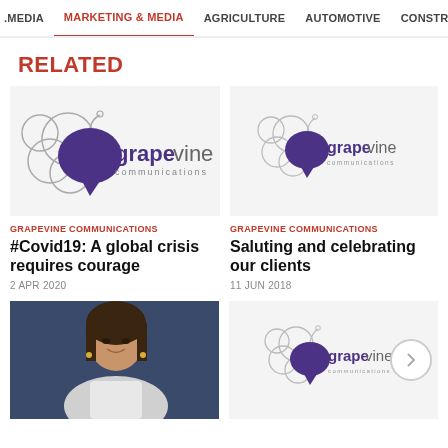MEDIA  MARKETING & MEDIA  AGRICULTURE  AUTOMOTIVE  CONSTRU
RELATED
[Figure (logo): Grapevine Communications logo - large version with overlapping circles and grape cluster]
GRAPEVINE COMMUNICATIONS
#Covid19: A global crisis requires courage
2 APR 2020
[Figure (logo): Grapevine Communications logo - smaller version]
GRAPEVINE COMMUNICATIONS
Saluting and celebrating our clients
11 JUN 2018
[Figure (photo): Woman with dark hair smiling, wearing a white top]
[Figure (logo): Grapevine Communications logo with arrow navigation button]